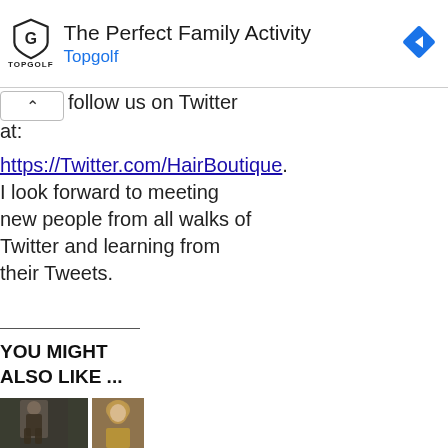[Figure (screenshot): Topgolf advertisement banner with shield logo, 'The Perfect Family Activity' headline, 'Topgolf' subtitle in blue, and a blue direction-arrow diamond icon on the right]
follow us on Twitter at:
https://Twitter.com/HairBoutique. I look forward to meeting new people from all walks of Twitter and learning from their Tweets.
YOU MIGHT ALSO LIKE ...
[Figure (photo): Two thumbnail images side by side: left shows a dark-clad woman in a fantasy/warrior costume outdoors; right shows a woman with long blonde/auburn hair wearing a gold outfit]